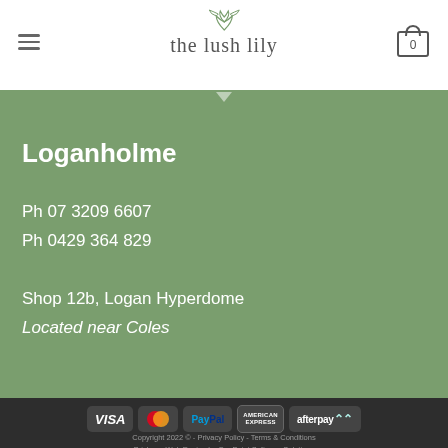the lush lily
Loganholme
Ph 07 3209 6607
Ph 0429 364 829
Shop 12b, Logan Hyperdome
Located near Coles
[Figure (infographic): Payment method logos: VISA, Mastercard, PayPal, American Express, Afterpay]
Copyright 2022 © - Privacy Policy - Terms & Conditions
Brisbane Web Design by OnePoint Software Solutions